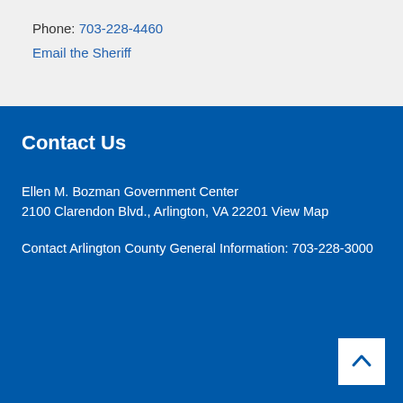Phone: 703-228-4460
Email the Sheriff
Contact Us
Ellen M. Bozman Government Center
2100 Clarendon Blvd., Arlington, VA 22201 View Map
Contact Arlington County
General Information: 703-228-3000